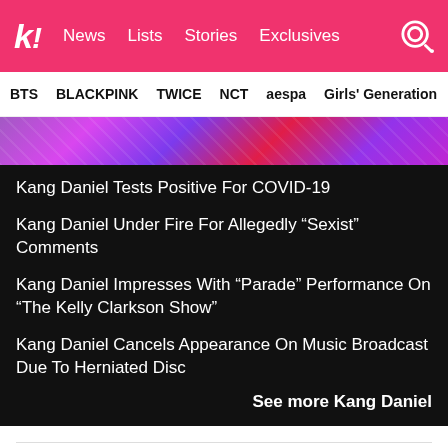K! News Lists Stories Exclusives
BTS BLACKPINK TWICE NCT aespa Girls' Generation
[Figure (photo): Colorful abstract purple and red artistic background image]
Kang Daniel Tests Positive For COVID-19
Kang Daniel Under Fire For Allegedly “Sexist” Comments
Kang Daniel Impresses With “Parade” Performance On “The Kelly Clarkson Show”
Kang Daniel Cancels Appearance On Music Broadcast Due To Herniated Disc
See more Kang Daniel
Share This Post